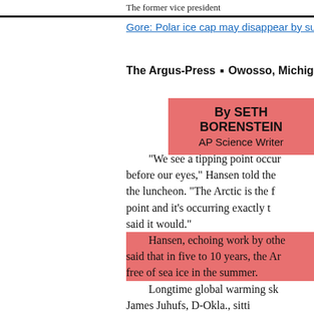The former vice president
Gore: Polar ice cap may disappear by su
The Argus-Press  •  Owosso, Michigan  •  Tues.,
By SETH BORENSTEIN
AP Science Writer
"We see a tipping point occur before our eyes," Hansen told the luncheon. "The Arctic is the f point and it's occurring exactly t said it would."
Hansen, echoing work by othe said that in five to 10 years, the Ar free of sea ice in the summer.
Longtime global warming sk James Juhufs, D-Okla., sitti